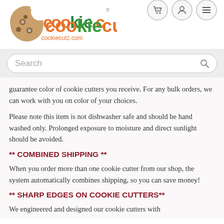[Figure (logo): CookieCutZ logo with cookie image and colorful text, cookiecutz.com website]
Search
guarantee color of cookie cutters you receive. For any bulk orders, we can work with you on color of your choices.
Please note this item is not dishwasher safe and should be hand washed only. Prolonged exposure to moisture and direct sunlight should be avoided.
** COMBINED SHIPPING **
When you order more than one cookie cutter from our shop, the system automatically combines shipping, so you can save money!
** SHARP EDGES ON COOKIE CUTTERS**
We engineered and designed our cookie cutters with